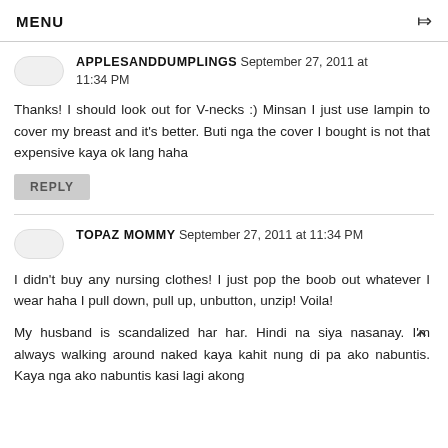MENU
APPLESANDDUMPLINGS September 27, 2011 at 11:34 PM
Thanks! I should look out for V-necks :) Minsan I just use lampin to cover my breast and it's better. Buti nga the cover I bought is not that expensive kaya ok lang haha
REPLY
TOPAZ MOMMY September 27, 2011 at 11:34 PM
I didn't buy any nursing clothes! I just pop the boob out whatever I wear haha I pull down, pull up, unbutton, unzip! Voila!
My husband is scandalized har har. Hindi na siya nasanay. I'm always walking around naked kaya kahit nung di pa ako nabuntis. Kaya nga ako nabuntis kasi lagi akong hubad! Sorry that I have no censor to spare myself.